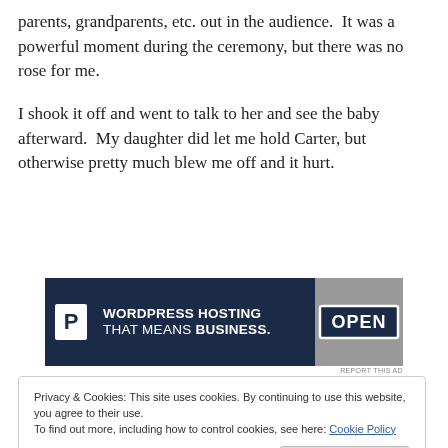parents, grandparents, etc. out in the audience.  It was a powerful moment during the ceremony, but there was no rose for me.
I shook it off and went to talk to her and see the baby afterward.  My daughter did let me hold Carter, but otherwise pretty much blew me off and it hurt.
[Figure (other): Advertisement banner for WordPress hosting. Dark navy background with 'P' logo on left, text 'WORDPRESS HOSTING THAT MEANS BUSINESS.' in center, and an OPEN sign photo on right. Small 'REPORT THIS AD' text below.]
Privacy & Cookies: This site uses cookies. By continuing to use this website, you agree to their use.
To find out more, including how to control cookies, see here: Cookie Policy
Close and accept